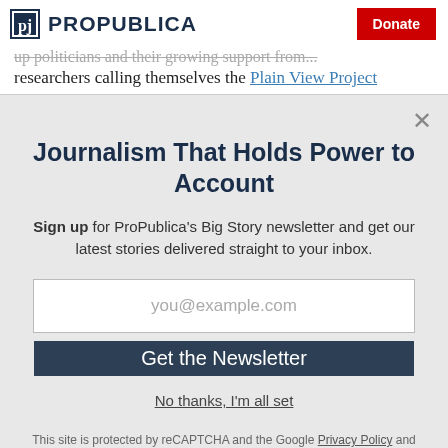ProPublica | Donate
researchers calling themselves the Plain View Project
Journalism That Holds Power to Account
Sign up for ProPublica's Big Story newsletter and get our latest stories delivered straight to your inbox.
you@example.com
Get the Newsletter
No thanks, I'm all set
This site is protected by reCAPTCHA and the Google Privacy Policy and Terms of Service apply.